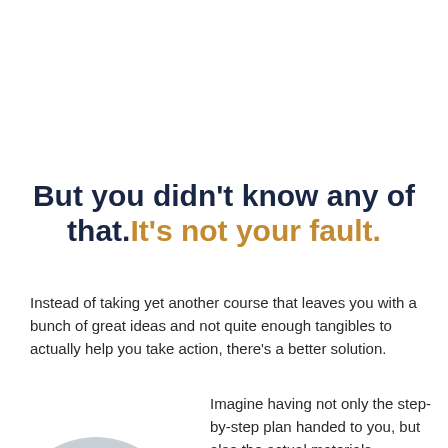But you didn't know any of that.It's not your fault.
Instead of taking yet another course that leaves you with a bunch of great ideas and not quite enough tangibles to actually help you take action, there's a better solution.
[Figure (illustration): A large light grey circle, partially cropped, representing a person silhouette placeholder]
Imagine having not only the step-by-step plan handed to you, but also the actual materials